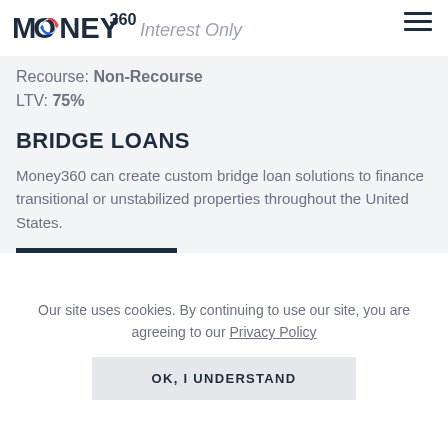MONEY360 | Interest Only
Recourse: Non-Recourse
LTV: 75%
BRIDGE LOANS
Money360 can create custom bridge loan solutions to finance transitional or unstabilized properties throughout the United States.
READ MORE
Our site uses cookies. By continuing to use our site, you are agreeing to our Privacy Policy
OK, I UNDERSTAND